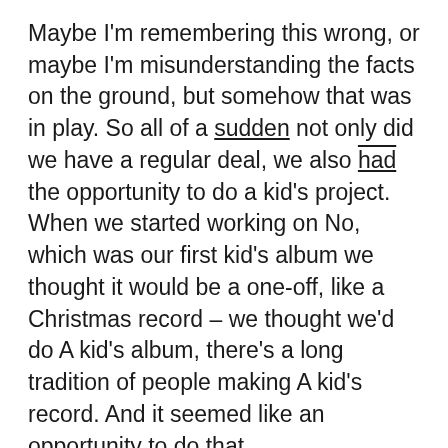Maybe I'm remembering this wrong, or maybe I'm misunderstanding the facts on the ground, but somehow that was in play. So all of a sudden not only did we have a regular deal, we also had the opportunity to do a kid's project. When we started working on No, which was our first kid's album we thought it would be a one-off, like a Christmas record – we thought we'd do A kid's album, there's a long tradition of people making A kid's record. And it seemed like an opportunity to do that.
And it was like a special thing. John and I thought given the type of band that we are, given the opportunity to write for kids is sort of a